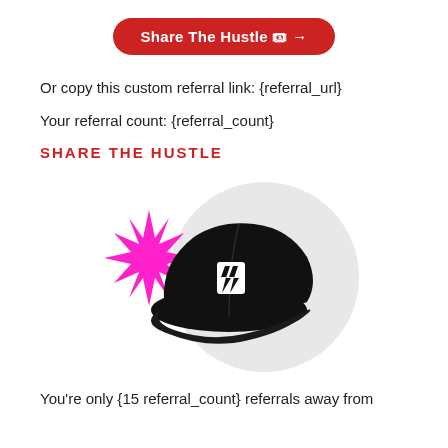Share The Hustle 🎟 →
Or copy this custom referral link: {referral_url}
Your referral count: {referral_count}
SHARE THE HUSTLE
[Figure (illustration): Black dad hat with white double-lightning-bolt logo on front, with a magenta starburst graphic behind it, on a light gray circle background]
You're only {15 referral_count} referrals away from